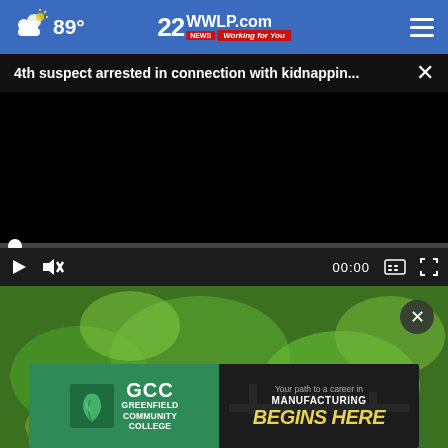22WWLP.com News - Working for You | 89°
4th suspect arrested in connection with kidnappin...
[Figure (screenshot): Black video player with playback controls, progress bar, play button, mute button, timestamp 00:00, captions and fullscreen icons]
[Figure (photo): Thumbnail of green vegetables/produce]
[Figure (other): Advertisement banner: Greenfield Community College (GCC) green logo on left, manufacturing career ad on right reading 'Your path to a career in MANUFACTURING BEGINS HERE']